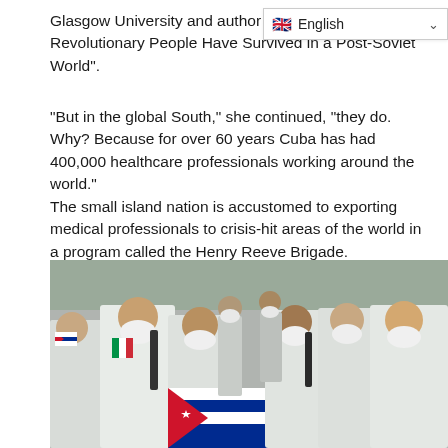Glasgow University and author of Revolutionary People Have Survived in a Post-Soviet World".
“But in the global South,” she continued, “they do. Why? Because for over 60 years Cuba has had 400,000 healthcare professionals working around the world.”
The small island nation is accustomed to exporting medical professionals to crisis-hit areas of the world in a program called the Henry Reeve Brigade.
[Figure (photo): Group of Cuban medical professionals wearing white lab coats and N95/surgical masks, holding a Cuban flag in the foreground. Some hold small Italian and Cuban flags. They appear to be arriving at a location as part of the Henry Reeve Brigade medical mission.]